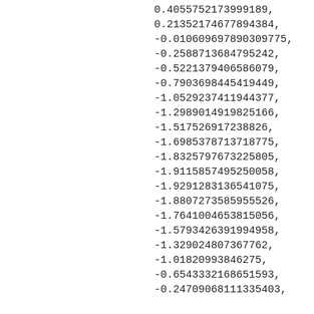0.4055752173999189,
0.21352174677894384,
-0.010609697890309775,
-0.2588713684795242,
-0.5221379406586079,
-0.7903698445419449,
-1.0529237411944377,
-1.2989014919825166,
-1.517526917238826,
-1.6985378713718775,
-1.8325797673225805,
-1.9115857495250058,
-1.9291283136541075,
-1.8807273585955526,
-1.7641004653815056,
-1.5793426391994958,
-1.329024807367762,
-1.01820993846275,
-0.6543332168651593,
-0.24709068111335403,